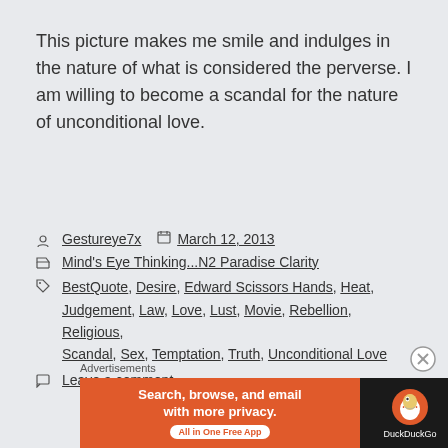This picture makes me smile and indulges in the nature of what is considered the perverse. I am willing to become a scandal for the nature of unconditional love.
Gestureye7x   March 12, 2013
Mind's Eye Thinking...N2 Paradise Clarity
BestQuote, Desire, Edward Scissors Hands, Heat, Judgement, Law, Love, Lust, Movie, Rebellion, Religious, Scandal, Sex, Temptation, Truth, Unconditional Love
Leave a comment
[Figure (screenshot): DuckDuckGo advertisement banner with orange left panel reading 'Search, browse, and email with more privacy. All in One Free App' and dark right panel with DuckDuckGo logo]